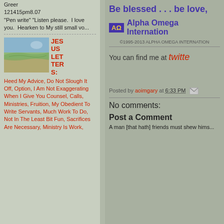Greer 121415pm8.07 "Pen write" "Listen please. I love you. Hearken to My still small vo..."
[Figure (photo): Landscape photo with sky and terrain]
JESUS LETTERS: Heed My Advice, Do Not Slough It Off, Option, I Am Not Exaggerating When I Give You Counsel, Calls, Ministries, Fruition, My Obedient To Write Servants, Much Work To Do, Not In The Least Bit Fun, Sacrifices Are Necessary, Ministry Is Work, Ministry Pur...
Be blessed . . . be love,
AΩ  Alpha Omega International
©1995-2013 ALPHA OMEGA INTERNATIONAL
You can find me at twitter
Posted by aoimgary at 6:33 PM
No comments:
Post a Comment
A man [that hath] friends must shew hims...